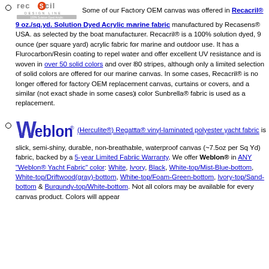Some of our Factory OEM canvas was offered in Recacril® 9 oz./sq.yd. Solution Dyed Acrylic marine fabric manufactured by Recasens® USA. as selected by the boat manufacturer. Recacril® is a 100% solution dyed, 9 ounce (per square yard) acrylic fabric for marine and outdoor use. It has a Flurocarbon/Resin coating to repel water and offer excellent UV resistance and is woven in over 50 solid colors and over 80 stripes, although only a limited selection of solid colors are offered for our marine canvas. In some cases, Recacril® is no longer offered for factory OEM replacement canvas, curtains or covers, and a similar (not exact shade in some cases) color Sunbrella® fabric is used as a replacement.
(Herculite®) Regatta® vinyl-laminated polyester yacht fabric is slick, semi-shiny, durable, non-breathable, waterproof canvas (~7.5oz per Sq Yd) fabric, backed by a 5-year Limited Fabric Warranty. We offer Weblon® in ANY "Weblon® Yacht Fabric" color: White, Ivory, Black, White-top/Mist-Blue-bottom, White-top/Driftwood(gray)-bottom, White-top/Foam-Green-bottom, Ivory-top/Sand-bottom & Burgundy-top/White-bottom. Not all colors may be available for every canvas product. Colors will appear